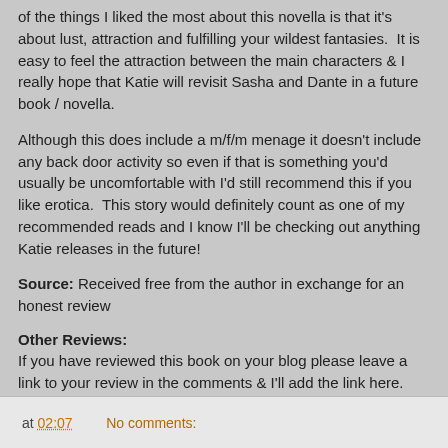of the things I liked the most about this novella is that it's about lust, attraction and fulfilling your wildest fantasies.  It is easy to feel the attraction between the main characters & I really hope that Katie will revisit Sasha and Dante in a future book / novella.
Although this does include a m/f/m menage it doesn't include any back door activity so even if that is something you'd usually be uncomfortable with I'd still recommend this if you like erotica.  This story would definitely count as one of my recommended reads and I know I'll be checking out anything Katie releases in the future!
Source: Received free from the author in exchange for an honest review
Other Reviews:
If you have reviewed this book on your blog please leave a link to your review in the comments & I'll add the link here.
at 02:07    No comments: